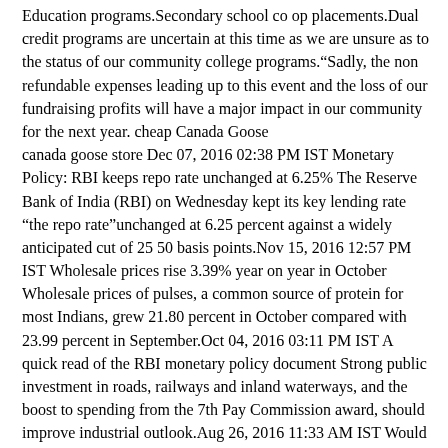Education programs.Secondary school co op placements.Dual credit programs are uncertain at this time as we are unsure as to the status of our community college programs.“Sadly, the non refundable expenses leading up to this event and the loss of our fundraising profits will have a major impact in our community for the next year. cheap Canada Goose canada goose store Dec 07, 2016 02:38 PM IST Monetary Policy: RBI keeps repo rate unchanged at 6.25% The Reserve Bank of India (RBI) on Wednesday kept its key lending rate “the repo rate”unchanged at 6.25 percent against a widely anticipated cut of 25 50 basis points.Nov 15, 2016 12:57 PM IST Wholesale prices rise 3.39% year on year in October Wholesale prices of pulses, a common source of protein for most Indians, grew 21.80 percent in October compared with 23.99 percent in September.Oct 04, 2016 03:11 PM IST A quick read of the RBI monetary policy document Strong public investment in roads, railways and inland waterways, and the boost to spending from the 7th Pay Commission award, should improve industrial outlook.Aug 26, 2016 11:33 AM IST Would be a gamechanger if RBI allows repos under LAF: SBI In an interview with CNBC TV18, C Venkat Nageswar, Deputy MD, SBI, talked about the impact of the RBI’s move to open up the corporate bond market and what this would mean for banks.Mar 25, 2016 12:34 PM IST Indian economy to grow at 7.2% in 2016 17: BMI Research Indian economy continues to face multiple challenges, and this is being reflected in high frequency data such